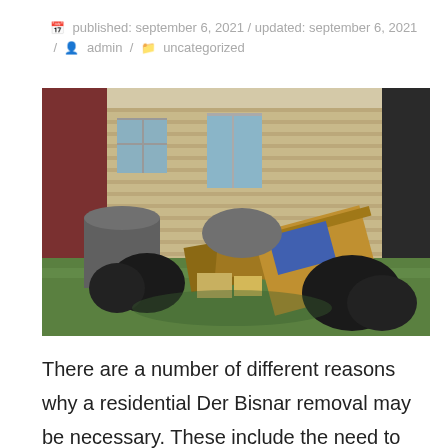published: september 6, 2021 / updated: september 6, 2021 / admin / uncategorized
[Figure (photo): Outdoor photo showing a large pile of junk and trash in a backyard, including black garbage bags, cardboard boxes, trash cans, and miscellaneous debris in front of a beige house.]
There are a number of different reasons why a residential Der Bisnar removal may be necessary. These include the need to make